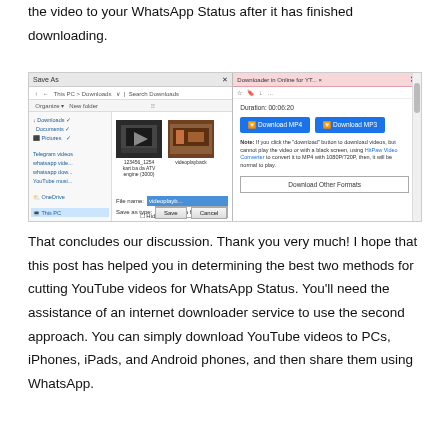the video to your WhatsApp Status after it has finished downloading.
[Figure (screenshot): Two overlapping screenshots: left shows a Windows 'Save As' dialog with file browser showing video thumbnails, file name field highlighted in blue, and Save/Cancel buttons. Right shows a web downloader page with Download MP4 and Download MP3 buttons, a note about video conversion, and a Download Other Formats button.]
That concludes our discussion. Thank you very much! I hope that this post has helped you in determining the best two methods for cutting YouTube videos for WhatsApp Status. You'll need the assistance of an internet downloader service to use the second approach. You can simply download YouTube videos to PCs, iPhones, iPads, and Android phones, and then share them using WhatsApp.